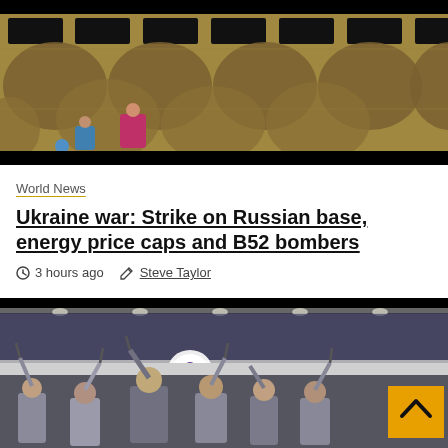[Figure (photo): Aerial or elevated view of a stone/concrete wall with rectangular holes and scallop-shaped craters or erosion marks; two figures (one in pink/red, one in blue) visible near the bottom of the wall]
World News
Ukraine war: Strike on Russian base, energy price caps and B52 bombers
3 hours ago   Steve Taylor
[Figure (photo): Indoor sports venue or arena with a crowd; people in the foreground raising arms/objects; a purple bird logo banner visible in the background; yellow back-to-top button in the lower right]